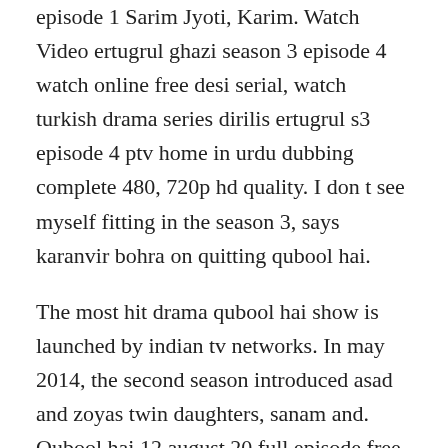episode 1 Sarim Jyoti, Karim. Watch Video ertugrul ghazi season 3 episode 4 watch online free desi serial, watch turkish drama series dirilis ertugrul s3 episode 4 ptv home in urdu dubbing complete 480, 720p hd quality. I don t see myself fitting in the season 3, says karanvir bohra on quitting qubool hai.
The most hit drama qubool hai show is launched by indian tv networks. In may 2014, the second season introduced asad and zoyas twin daughters, sanam and. Qubool hai 12 august 20 full episode free online qubool hai 12 august 20 free watch online full episode